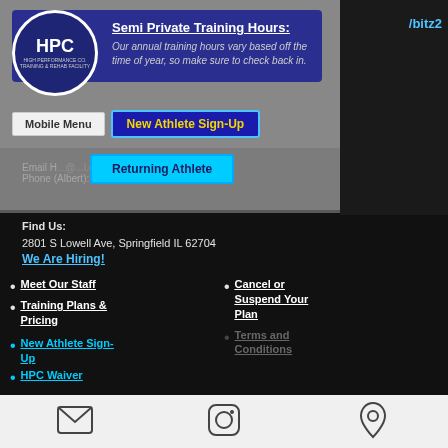[Figure (logo): HPC High Performance Co. round logo in dark blue with white text]
Semi Private Training Hours:
Our annual training hours vary based off the time of year, so make sure to check back in.
[Figure (screenshot): Mobile Menu navigation bar with New Athlete Sign-Up button]
[Figure (screenshot): Returning Athlete button in cyan]
Email H...@...l.com
Phone (Albert): 414-216-145!
Find Us:
2801 S Lowell Ave, Springfield IL 62704
We Are Hiring!
Meet Our Staff
Training Plans & Pricing
New Athlete Sign-Up
HPC Waiver
Cancel or Suspend Your Plan
Terms and Conditions
[Figure (other): Bottom social icon bar with email, Instagram, and location icons]